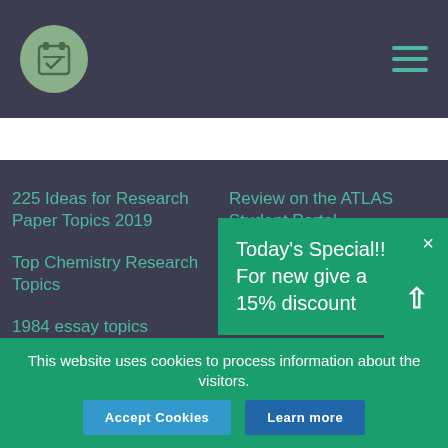Navigation header with logo and hamburger menu
[Figure (other): Green popup notification: Today's Special!! For new give a 15% discount]
225 Ideas for Research Paper Topics 2019
Review on the ATLAS Student Portal
Top Chemistry Research Topics
Latest guide on reflective essay rules and standards
1984 essay topics
A top guide on narrative essay
This website uses cookies to process information about the visitors. Accept Cookies  Learn more